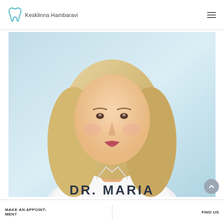Kesklinna Hambaravi
[Figure (photo): Portrait photo of Dr. Maria, a young woman with long blonde hair, wearing a white medical coat, against a light blue background]
DR. MARIA
MAKE AN APPOINT- MENT    FIND US